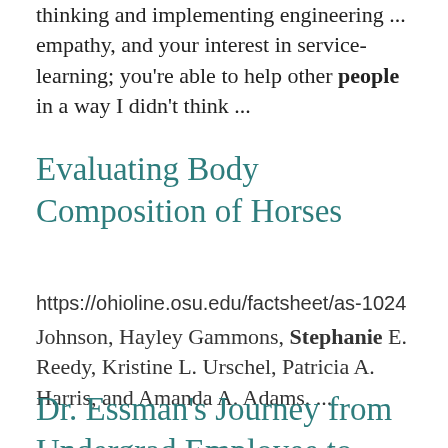thinking and implementing engineering ... empathy, and your interest in service-learning; you're able to help other people in a way I didn't think ...
Evaluating Body Composition of Horses
https://ohioline.osu.edu/factsheet/as-1024
Johnson, Hayley Gammons, Stephanie E. Reedy, Kristine L. Urschel, Patricia A. Harris, and Amanda A. Adams. ...
Dr. Essman's Journey from Undergrad Employee to Visiting